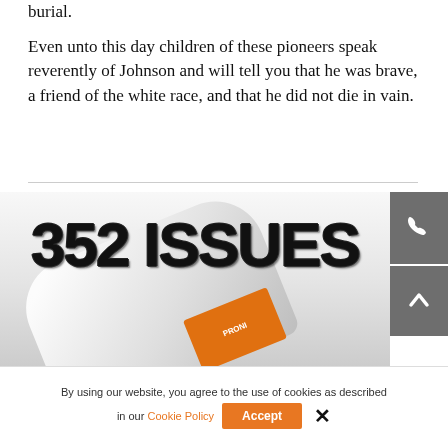burial.
Even unto this day children of these pioneers speak reverently of Johnson and will tell you that he was brave, a friend of the white race, and that he did not die in vain.
[Figure (photo): Screenshot of a webpage showing '352 ISSUES' in large distressed/grunge typography overlaid on a photo of pharmaceutical vials, with grey phone and up-arrow buttons on the right side.]
By using our website, you agree to the use of cookies as described in our Cookie Policy  Accept